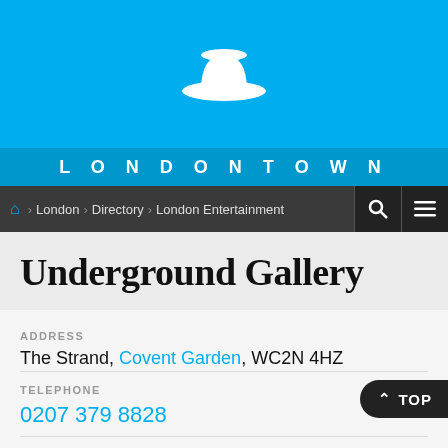[Figure (logo): White bowler hat icon on sky blue background, LondonTown website header]
LONDONTOWN
Home > London > Directory > London Entertainment
Underground Gallery
ADDRESS
The Strand, Covent Garden, WC2N 4HZ
TELEPHONE
0207 379 8828
OPENING TIMES
Monday-Saturday 11am-5:30pm (during exhibitions)